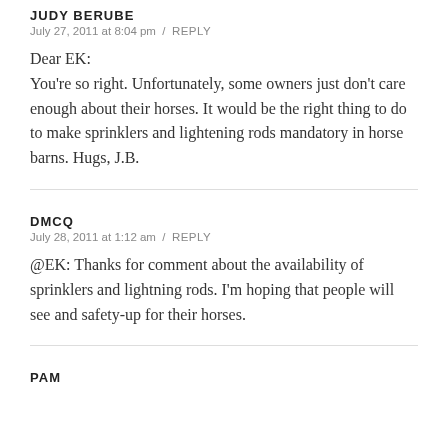JUDY BERUBE
July 27, 2011 at 8:04 pm / REPLY
Dear EK:
You're so right. Unfortunately, some owners just don't care enough about their horses. It would be the right thing to do to make sprinklers and lightening rods mandatory in horse barns. Hugs, J.B.
DMCQ
July 28, 2011 at 1:12 am / REPLY
@EK: Thanks for comment about the availability of sprinklers and lightning rods. I'm hoping that people will see and safety-up for their horses.
PAM